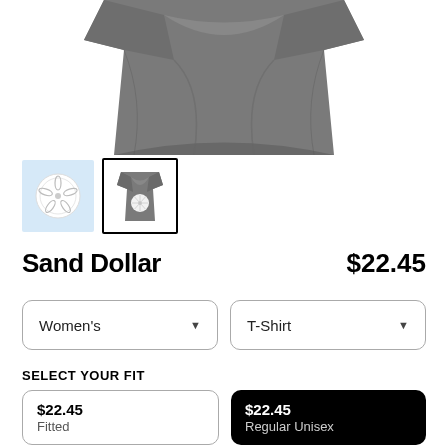[Figure (photo): Gray folded t-shirt product photo, cropped, showing fabric folds, on white background]
[Figure (photo): Two product thumbnail images: first is a light blue square with a white sand dollar design; second is a bordered square showing a gray t-shirt with white sand dollar print]
Sand Dollar
$22.45
Women's
T-Shirt
SELECT YOUR FIT
$22.45
Fitted
$22.45
Regular Unisex